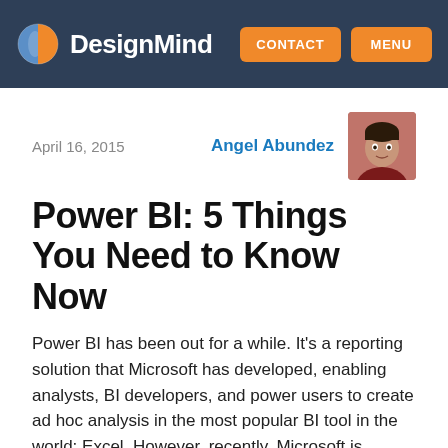DesignMind | CONTACT | MENU
April 16, 2015
Angel Abundez
[Figure (photo): Headshot photo of Angel Abundez, a man wearing a dark red shirt, smiling slightly, against a neutral background.]
Power BI: 5 Things You Need to Know Now
Power BI has been out for a while. It’s a reporting solution that Microsoft has developed, enabling analysts, BI developers, and power users to create ad hoc analysis in the most popular BI tool in the world: Excel. However, recently, Microsoft is putting serious focus on Power BI in terms of making it more accessible, easier to use, and visually more powerful